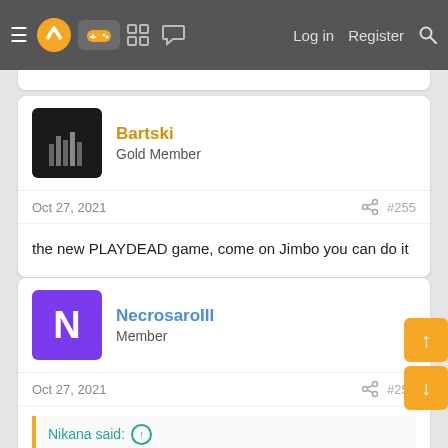Navigation bar with menu, logo, controller icon, grid icon, chat icon, Log in, Register, Search
Bartski
Gold Member
Oct 27, 2021  #255
the new PLAYDEAD game, come on Jimbo you can do it
NecrosaroIII
Member
Oct 27, 2021  #256
Nikana said:
I wanna some FF16 action. Dont think we will sadly. Maybe Game Awards?